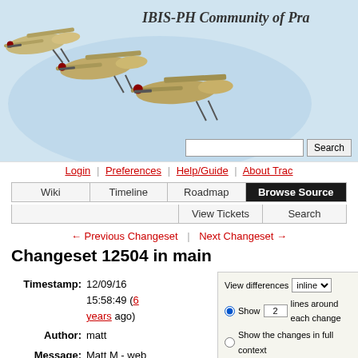[Figure (screenshot): IBIS-PH Community of Practice website banner with flying cranes on blue-sky background]
IBIS-PH Community of Pra...
Login | Preferences | Help/Guide | About Trac
Wiki | Timeline | Roadmap | Browse Source | View Tickets | Search
← Previous Changeset | Next Changeset →
Changeset 12504 in main
Timestamp: 12/09/16 15:58:49 (6 years ago)
Author: matt
Message: Matt M - web updates
Location:
View differences inline
Show 2 lines around each change
Show the changes in full context
Ignore:
Blank lines
Case changes
White space changes
Update